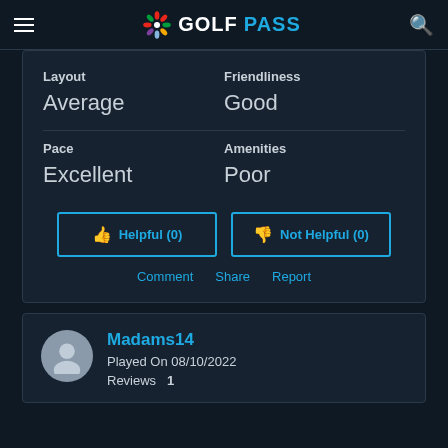GOLFPASS
| Category | Rating |
| --- | --- |
| Layout | Average |
| Friendliness | Good |
| Pace | Excellent |
| Amenities | Poor |
Helpful (0)
Not Helpful (0)
Comment  Share  Report
Madams14
Played On 08/10/2022
Reviews  1